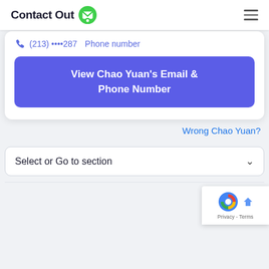ContactOut
(213) ••••287   Phone number
View Chao Yuan's Email & Phone Number
Wrong Chao Yuan?
Select or Go to section
[Figure (logo): reCAPTCHA badge with Privacy - Terms text]